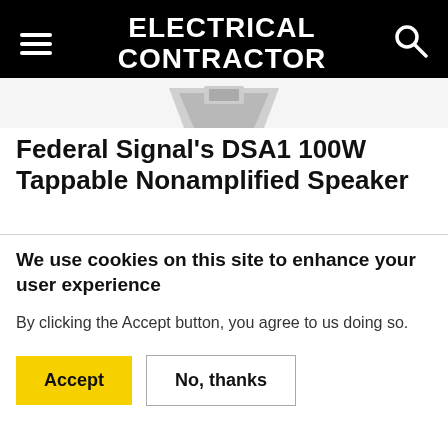ELECTRICAL CONTRACTOR
[Figure (photo): Partial product image of a speaker device against light background]
Federal Signal's DSA1 100W Tappable Nonamplified Speaker
We use cookies on this site to enhance your user experience
By clicking the Accept button, you agree to us doing so.
Accept | No, thanks